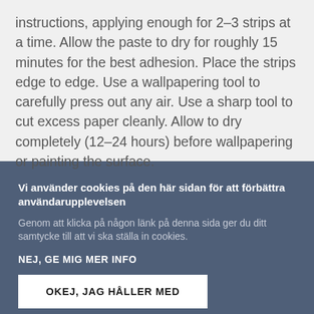instructions, applying enough for 2–3 strips at a time. Allow the paste to dry for roughly 15 minutes for the best adhesion. Place the strips edge to edge. Use a wallpapering tool to carefully press out any air. Use a sharp tool to cut excess paper cleanly. Allow to dry completely (12–24 hours) before wallpapering or painting the surface.
Vi använder cookies på den här sidan för att förbättra användarupplevelsen
Genom att klicka på någon länk på denna sida ger du ditt samtycke till att vi ska ställa in cookies.
NEJ, GE MIG MER INFO
OKEJ, JAG HÅLLER MED